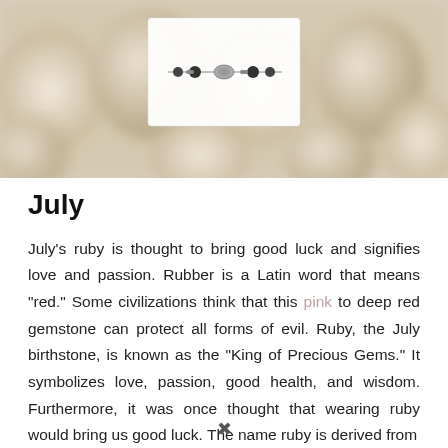[Figure (photo): A blurred photo of smooth white/cream rounded pebbles or stones in the background, with a jewelry bracelet displayed on a white card in the center foreground. The bracelet has dark beads and a decorative clasp.]
July
July’s ruby is thought to bring good luck and signifies love and passion. Rubber is a Latin word that means “red.” Some civilizations think that this pink to deep red gemstone can protect all forms of evil. Ruby, the July birthstone, is known as the “King of Precious Gems.” It symbolizes love, passion, good health, and wisdom. Furthermore, it was once thought that wearing ruby would bring us good luck. The name ruby is derived from